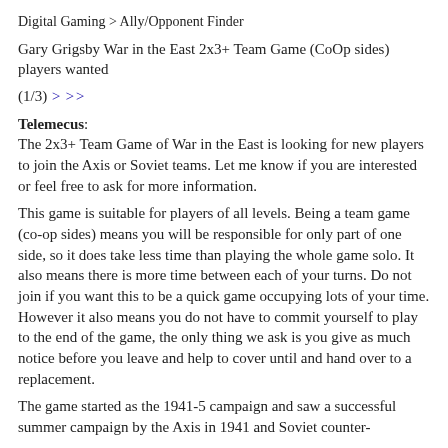Digital Gaming > Ally/Opponent Finder
Gary Grigsby War in the East 2x3+ Team Game (CoOp sides) players wanted
(1/3) > >>
Telemecus: The 2x3+ Team Game of War in the East is looking for new players to join the Axis or Soviet teams. Let me know if you are interested or feel free to ask for more information.
This game is suitable for players of all levels. Being a team game (co-op sides) means you will be responsible for only part of one side, so it does take less time than playing the whole game solo. It also means there is more time between each of your turns. Do not join if you want this to be a quick game occupying lots of your time. However it also means you do not have to commit yourself to play to the end of the game, the only thing we ask is you give as much notice before you leave and help to cover until and hand over to a replacement.
The game started as the 1941-5 campaign and saw a successful summer campaign by the Axis in 1941 and Soviet counter-offensive during the blizzard. It is at a competitive point with the